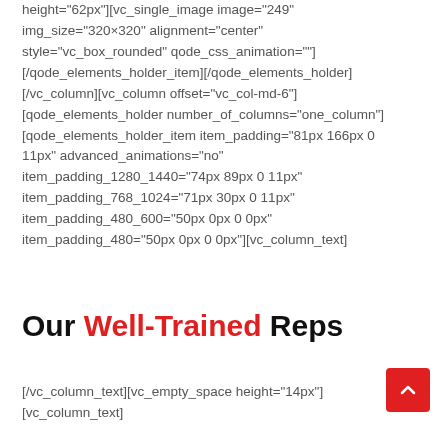height="62px"][vc_single_image image="249" img_size="320×320" alignment="center" style="vc_box_rounded" qode_css_animation=""] [/qode_elements_holder_item][/qode_elements_holder] [/vc_column][vc_column offset="vc_col-md-6"] [qode_elements_holder number_of_columns="one_column"] [qode_elements_holder_item item_padding="81px 166px 0 11px" advanced_animations="no" item_padding_1280_1440="74px 89px 0 11px" item_padding_768_1024="71px 30px 0 11px" item_padding_480_600="50px 0px 0 0px" item_padding_480="50px 0px 0 0px"][vc_column_text]
Our Well-Trained Reps
[/vc_column_text][vc_empty_space height="14px"] [vc_column_text]